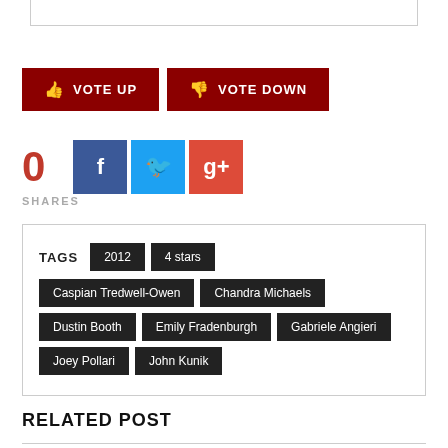[Figure (other): Vote Up and Vote Down buttons in dark red]
[Figure (other): Share count 0 with Facebook, Twitter, Google+ social share buttons]
SHARES
TAGS  2012  4 stars  Caspian Tredwell-Owen  Chandra Michaels  Dustin Booth  Emily Fradenburgh  Gabriele Angieri  Joey Pollari  John Kunik
RELATED POST